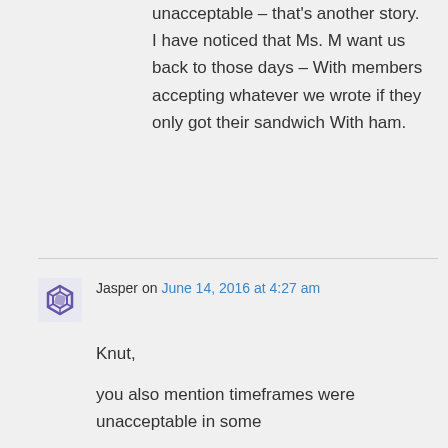unacceptable – that's another story. I have noticed that Ms. M want us back to those days – With members accepting whatever we wrote if they only got their sandwich With ham.
Jasper on June 14, 2016 at 4:27 am
Knut,
you also mention timeframes were unacceptable in some